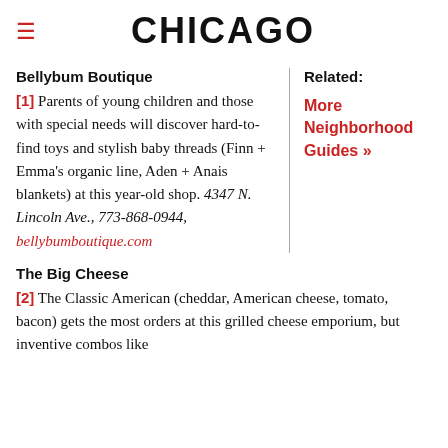CHICAGO
Bellybum Boutique
[1] Parents of young children and those with special needs will discover hard-to-find toys and stylish baby threads (Finn + Emma's organic line, Aden + Anais blankets) at this year-old shop. 4347 N. Lincoln Ave., 773-868-0944, bellybumboutique.com
Related:
More Neighborhood Guides »
The Big Cheese
[2] The Classic American (cheddar, American cheese, tomato, bacon) gets the most orders at this grilled cheese emporium, but inventive combos like